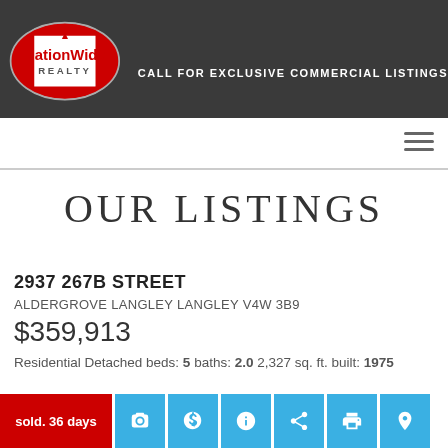[Figure (logo): NationWide Realty logo - oval shape with Canadian flag motif, red and white colors, text 'NationWide REALTY']
CALL FOR EXCLUSIVE COMMERCIAL LISTINGS
OUR LISTINGS
2937 267B STREET
ALDERGROVE LANGLEY LANGLEY V4W 3B9
$359,913
Residential Detached beds: 5 baths: 2.0 2,327 sq. ft. built: 1975
sold. 36 days